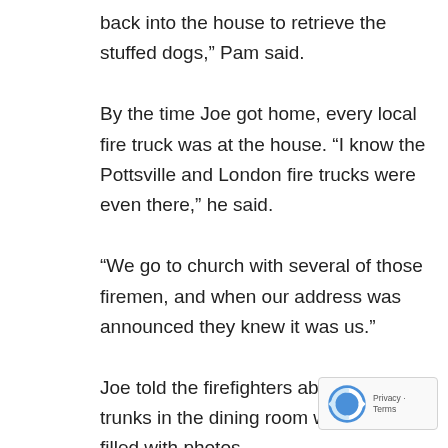back into the house to retrieve the stuffed dogs,” Pam said. By the time Joe got home, every local fire truck was at the house. “I know the Pottsville and London fire trucks were even there,” he said. “We go to church with several of those firemen, and when our address was announced they knew it was us.” Joe told the firefighters about two large trunks in the dining room which were filled with photos. “Pam is a big scrapbooker,” he said, “and I knew if there was any way we could save those photos it would mean the world to her.” The